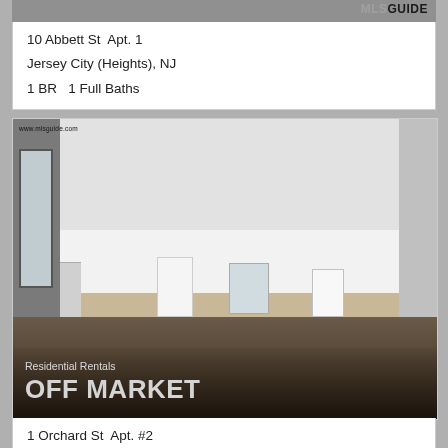[Figure (photo): Top portion of a real estate listing photo (exterior or interior), partially visible at top of page, with MLS GUIDE watermark logo in upper right corner]
10 Abbett St  Apt. 1
Jersey City (Heights), NJ
1 BR   1 Full Baths
[Figure (photo): Interior photo of an empty apartment room with white walls, dark hardwood floors in foreground, light wood floors in background kitchen area, white refrigerator, baseboard heater on left, and a door on the right side. Text overlay reads 'Residential Rentals' and 'OFF MARKET'. Watermark 'www.mlsguide.com' in upper left. Listing is Off Market.]
1 Orchard St  Apt. #2
Jersey City (Journal Sq.), NJ